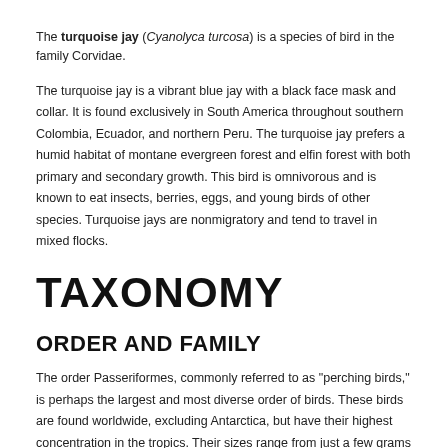The turquoise jay (Cyanolyca turcosa) is a species of bird in the family Corvidae.
The turquoise jay is a vibrant blue jay with a black face mask and collar. It is found exclusively in South America throughout southern Colombia, Ecuador, and northern Peru. The turquoise jay prefers a humid habitat of montane evergreen forest and elfin forest with both primary and secondary growth. This bird is omnivorous and is known to eat insects, berries, eggs, and young birds of other species. Turquoise jays are nonmigratory and tend to travel in mixed flocks.
TAXONOMY
ORDER AND FAMILY
The order Passeriformes, commonly referred to as "perching birds," is perhaps the largest and most diverse order of birds. These birds are found worldwide, excluding Antarctica, but have their highest concentration in the tropics. Their sizes range from just a few grams to over a kilogram in weight, and they are